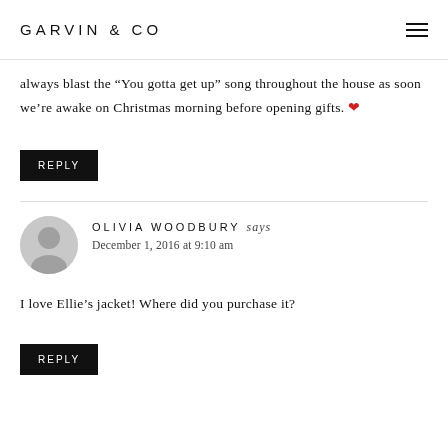GARVIN & CO
always blast the “You gotta get up” song throughout the house as soon we’re awake on Christmas morning before opening gifts. ❤
REPLY
OLIVIA WOODBURY says
December 1, 2016 at 9:10 am
I love Ellie’s jacket! Where did you purchase it?
REPLY